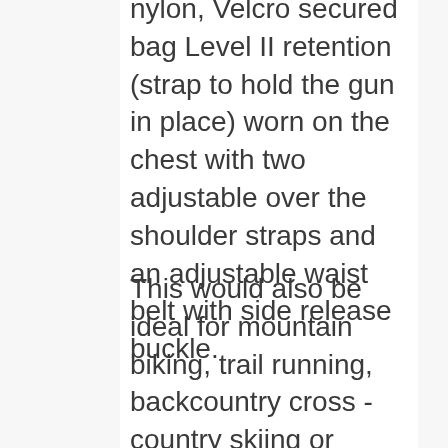nylon, Velcro secured bag Level II retention (strap to hold the gun in place) worn on the chest with two adjustable over the shoulder straps and an adjustable waist belt with side release buckle.
This would also be ideal for mountain biking, trail running, backcountry cross -country skiing or snowshoeing, hiking, or fishing in remote areas. Some users have given it bad reviews. Many of the critical reviews sounded like people were using it beyond its intended function, e.g., heavy, large frame